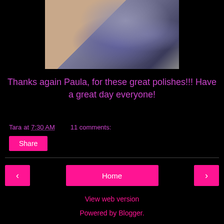[Figure (photo): Close-up photo of fingers with gray/metallic nail polish on a black background]
Thanks again Paula, for these great polishes!!! Have a great day everyone!
Tara at 7:30 AM   11 comments:
Share
‹  Home  ›
View web version
Powered by Blogger.